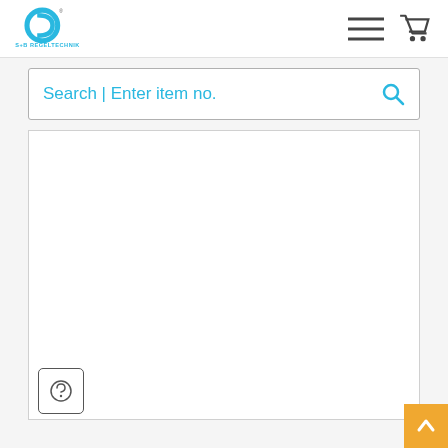S+B Regeltechnik
Search | Enter item no.
[Figure (screenshot): Main content area of S+B Regeltechnik website, white blank content panel below the search bar]
[Figure (logo): Help/info button with question mark icon, bottom left]
[Figure (other): Scroll to top orange button with upward arrow, bottom right]